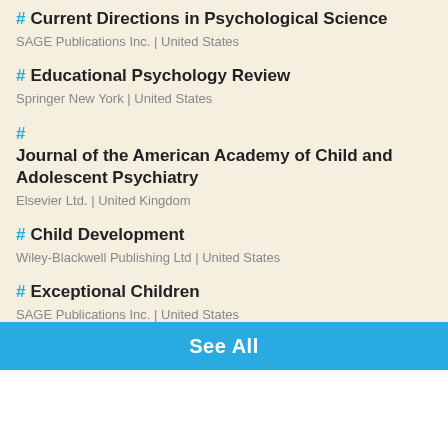# Current Directions in Psychological Science
SAGE Publications Inc. | United States
# Educational Psychology Review
Springer New York | United States
# Journal of the American Academy of Child and Adolescent Psychiatry
Elsevier Ltd. | United Kingdom
# Child Development
Wiley-Blackwell Publishing Ltd | United States
# Exceptional Children
SAGE Publications Inc. | United States
See All